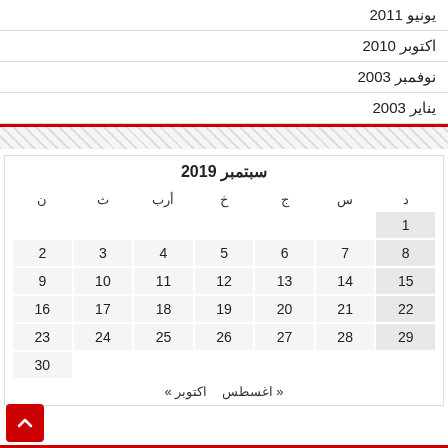يونيو 2011
اكتوبر 2010
نوفمبر 2003
يناير 2003
| د | س | ج | خ | أرب | ث | ن |
| --- | --- | --- | --- | --- | --- | --- |
| 1 |  |  |  |  |  |  |
| 8 | 7 | 6 | 5 | 4 | 3 | 2 |
| 15 | 14 | 13 | 12 | 11 | 10 | 9 |
| 22 | 21 | 20 | 19 | 18 | 17 | 16 |
| 29 | 28 | 27 | 26 | 25 | 24 | 23 |
|  |  |  |  |  |  | 30 |
« اغسطس   اكتوبر »